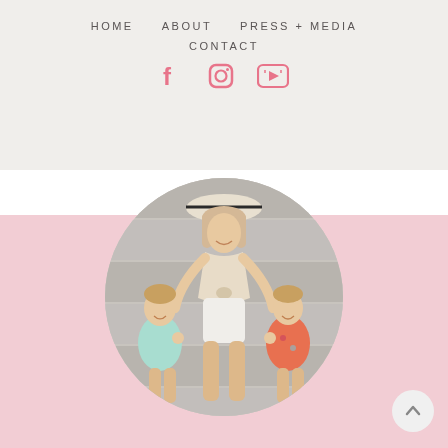HOME   ABOUT   PRESS + MEDIA   CONTACT
[Figure (logo): Social media icons: Facebook, Instagram, YouTube in pink]
[Figure (photo): Woman in white shorts and beige top with hat standing with two young girls in swimsuits, displayed in a circular crop on a pink background]